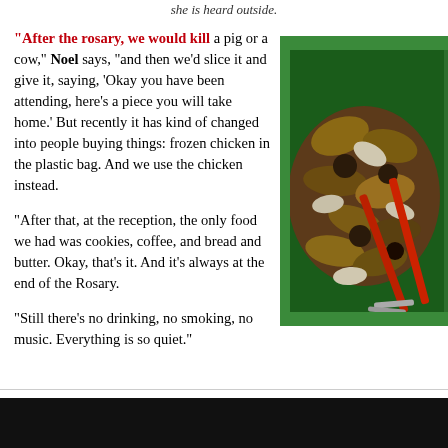she is heard outside.
“After the rosary, we would kill a pig or a cow,” Noel says, “and then we’d slice it and give it, saying, ‘Okay you have been attending, here’s a piece you will take home.’ But recently it has kind of changed into people buying things: frozen chicken in the plastic bag. And we use the chicken instead.
“After that, at the reception, the only food we had was cookies, coffee, and bread and butter. Okay, that’s it. And it’s always at the end of the Rosary.
“Still there’s no drinking, no smoking, no music. Everything is so quiet.”
[Figure (photo): A green container/tray filled with shellfish, crabs, or similar seafood items, with metal tongs visible.]